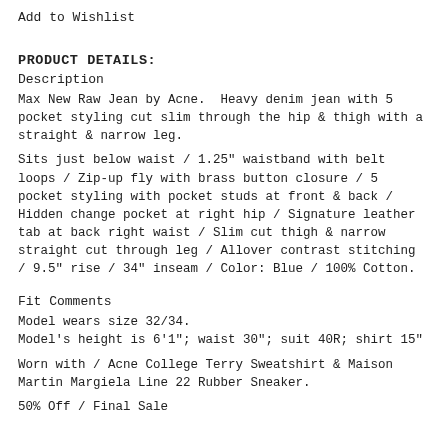Add to Wishlist
PRODUCT DETAILS:
Description
Max New Raw Jean by Acne.  Heavy denim jean with 5 pocket styling cut slim through the hip & thigh with a straight & narrow leg.
Sits just below waist / 1.25" waistband with belt loops / Zip-up fly with brass button closure / 5 pocket styling with pocket studs at front & back / Hidden change pocket at right hip / Signature leather tab at back right waist / Slim cut thigh & narrow straight cut through leg / Allover contrast stitching / 9.5" rise / 34" inseam / Color: Blue / 100% Cotton.
Fit Comments
Model wears size 32/34.
Model's height is 6'1"; waist 30"; suit 40R; shirt 15"
Worn with / Acne College Terry Sweatshirt & Maison Martin Margiela Line 22 Rubber Sneaker.
50% Off / Final Sale